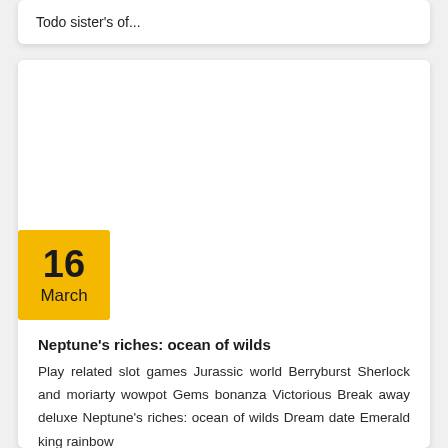Todo sister's of...
[Figure (other): Empty white image area placeholder]
16 March
Neptune's riches: ocean of wilds
Play related slot games Jurassic world Berryburst Sherlock and moriarty wowpot Gems bonanza Victorious Break away deluxe Neptune's riches: ocean of wilds Dream date Emerald king rainbow